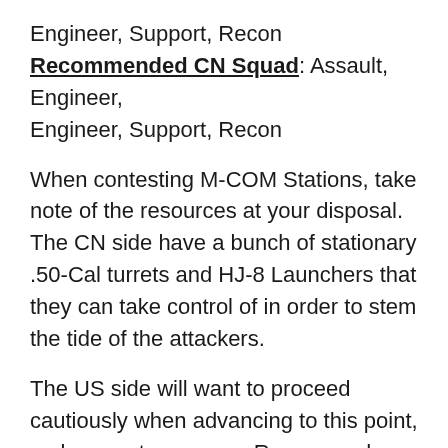Engineer, Support, Recon
Recommended CN Squad: Assault, Engineer, Engineer, Support, Recon
When contesting M-COM Stations, take note of the resources at your disposal. The CN side have a bunch of stationary .50-Cal turrets and HJ-8 Launchers that they can take control of in order to stem the tide of the attackers.
The US side will want to proceed cautiously when advancing to this point, make sure to use your Recons and Engineers to take these gun emplacements down or they might destroy your LAV-25. However, doing so would be ideal for the CN since they do not have access to